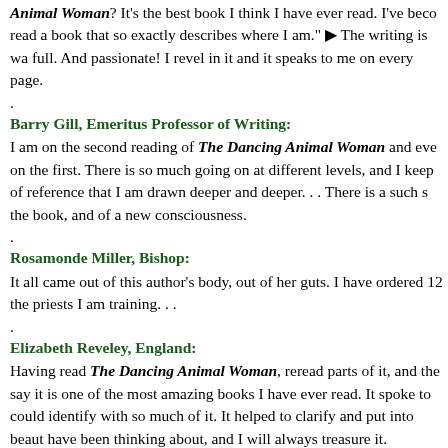Animal Woman? It's the best book I think I have ever read. I've become read a book that so exactly describes where I am." » The writing is wa full. And passionate! I revel in it and it speaks to me on every page.
.
Barry Gill, Emeritus Professor of Writing: I am on the second reading of The Dancing Animal Woman and eve on the first. There is so much going on at different levels, and I keep of reference that I am drawn deeper and deeper. . . There is a such s the book, and of a new consciousness.
.
Rosamonde Miller, Bishop: It all came out of this author's body, out of her guts. I have ordered 12 the priests I am training. . .
.
Elizabeth Reveley, England: Having read The Dancing Animal Woman, reread parts of it, and the say it is one of the most amazing books I have ever read. It spoke to could identify with so much of it. It helped to clarify and put into beaut have been thinking about, and I will always treasure it.
.
Rita Marsh, Board Chair, Davi Nikent, A Center for Human Flouris Our local book group has started reading The Dancing Animal Wom